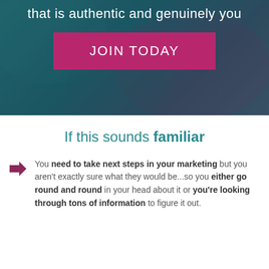that is authentic and genuinely you
[Figure (other): Pink/magenta JOIN TODAY button on a teal and purple gradient background with a blurred image overlay]
If this sounds familiar
You need to take next steps in your marketing but you aren't exactly sure what they would be...so you either go round and round in your head about it or you're looking through tons of information to figure it out.